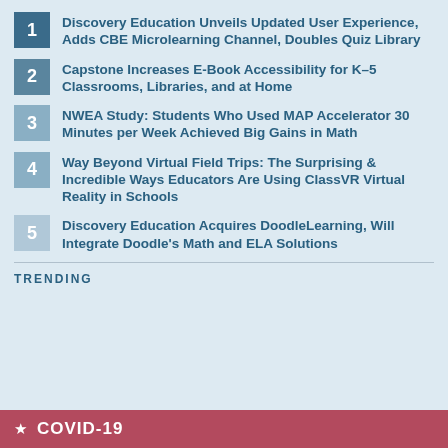1 Discovery Education Unveils Updated User Experience, Adds CBE Microlearning Channel, Doubles Quiz Library
2 Capstone Increases E-Book Accessibility for K–5 Classrooms, Libraries, and at Home
3 NWEA Study: Students Who Used MAP Accelerator 30 Minutes per Week Achieved Big Gains in Math
4 Way Beyond Virtual Field Trips: The Surprising & Incredible Ways Educators Are Using ClassVR Virtual Reality in Schools
5 Discovery Education Acquires DoodleLearning, Will Integrate Doodle's Math and ELA Solutions
TRENDING
COVID-19